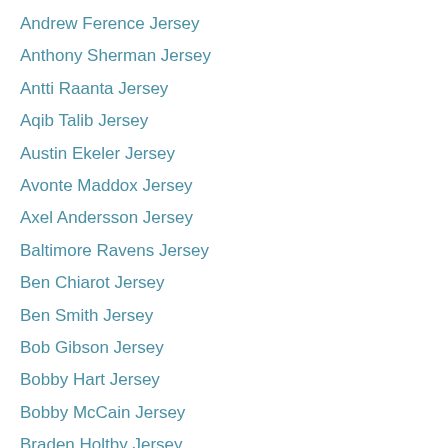Andrew Ference Jersey
Anthony Sherman Jersey
Antti Raanta Jersey
Aqib Talib Jersey
Austin Ekeler Jersey
Avonte Maddox Jersey
Axel Andersson Jersey
Baltimore Ravens Jersey
Ben Chiarot Jersey
Ben Smith Jersey
Bob Gibson Jersey
Bobby Hart Jersey
Bobby McCain Jersey
Braden Holtby Jersey
Brandon Dubinsky Jersey